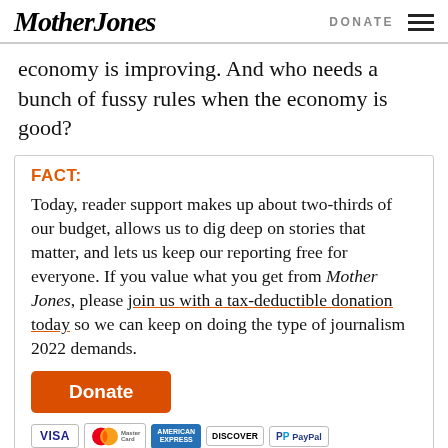Mother Jones | DONATE
economy is improving. And who needs a bunch of fussy rules when the economy is good?
FACT:
Today, reader support makes up about two-thirds of our budget, allows us to dig deep on stories that matter, and lets us keep our reporting free for everyone. If you value what you get from Mother Jones, please join us with a tax-deductible donation today so we can keep on doing the type of journalism 2022 demands.
[Figure (other): Orange donate button and payment icons: VISA, MasterCard, American Express, Discover, PayPal]